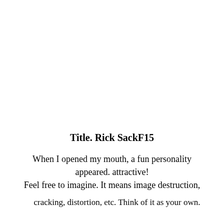Title. Rick SackF15
When I opened my mouth, a fun personality appeared. attractive! Feel free to imagine. It means image destruction,
cracking, distortion, etc. Think of it as your own.